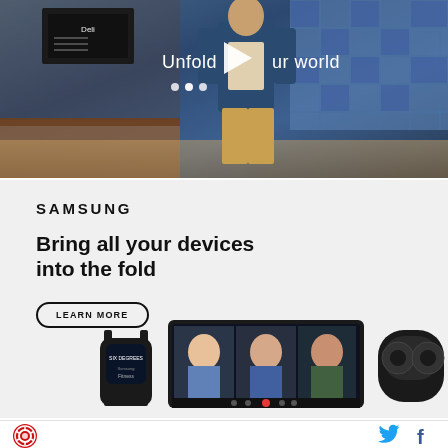[Figure (screenshot): Video player thumbnail showing a man walking in a cafe/diner setting with blue jacket and khaki pants. A play button icon overlays the center. Text reads 'Unfold your world' with navigation dots below.]
[Figure (photo): Samsung advertisement section with light gray background. Shows Samsung wordmark, headline text 'Bring all your devices into the fold', a 'LEARN MORE' button, and product images including a smartwatch, a tablet/phone showing a video call with three people, and earbuds.]
Unfold your world
SAMSUNG
Bring all your devices into the fold
LEARN MORE
[Figure (logo): Red circular logo with camera shutter icon in bottom-left of footer]
[Figure (logo): Twitter blue bird icon in footer right]
[Figure (logo): Facebook 'f' icon in footer right]